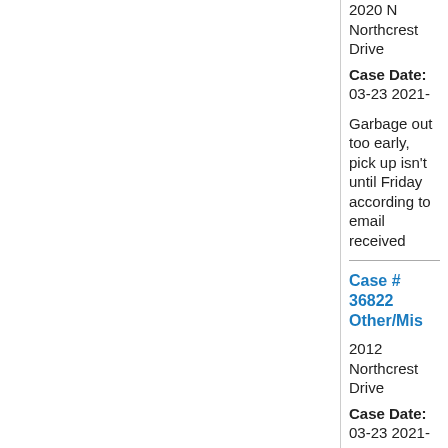2020 N Northcrest Drive
Case Date: 03-23 2021-
Garbage out too early, pick up isn't until Friday according to email received
Case # 36822 Other/Mis
2012 Northcrest Drive
Case Date: 03-23 2021-
Garbage